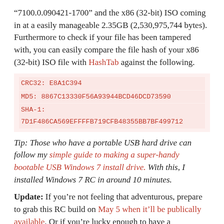“7100.0.090421-1700” and the x86 (32-bit) ISO coming in at a easily manageable 2.35GB (2,530,975,744 bytes). Furthermore to check if your file has been tampered with, you can easily compare the file hash of your x86 (32-bit) ISO file with HashTab against the following.
CRC32: E8A1C394
MD5: 8867C13330F56A93944BCD46DCD73590
SHA-1: 7D1F486CA569EFFFFB719CFB48355BB7BF499712
Tip: Those who have a portable USB hard drive can follow my simple guide to making a super-handy bootable USB Windows 7 install drive. With this, I installed Windows 7 RC in around 10 minutes.
Update: If you’re not feeling that adventurous, prepare to grab this RC build on May 5 when it’ll be publically available. Or if you’re lucky enough to have a